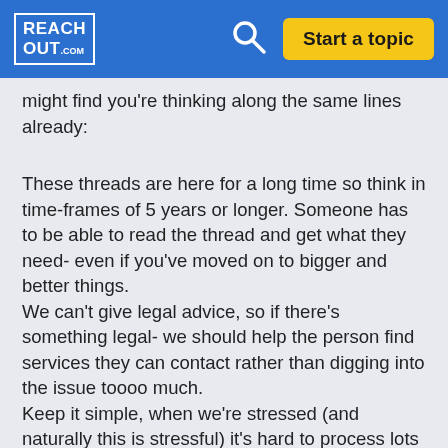REACHOUT.com | Search | Start a topic
might find you're thinking along the same lines already:
These threads are here for a long time so think in time-frames of 5 years or longer. Someone has to be able to read the thread and get what they need- even if you've moved on to bigger and better things.
We can't give legal advice, so if there's something legal- we should help the person find services they can contact rather than digging into the issue toooo much.
Keep it simple, when we're stressed (and naturally this is stressful) it's hard to process lots of information, so perhaps give your readers the top 5 things needs to know if they're